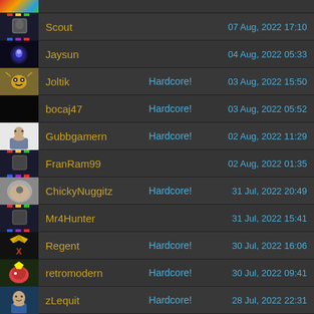(partial top row)
Scout | 07 Aug, 2022 17:10
Jaysun | 04 Aug, 2022 05:33
Joltik | Hardcore! | 03 Aug, 2022 15:50
bocaj47 | Hardcore! | 03 Aug, 2022 05:52
Gubbgamern | Hardcore! | 02 Aug, 2022 11:29
FranRam99 | 02 Aug, 2022 01:35
ChickyNuggitz | Hardcore! | 31 Jul, 2022 20:49
Mr4Hunter | 31 Jul, 2022 15:41
Regent | Hardcore! | 30 Jul, 2022 16:06
retromodern | Hardcore! | 30 Jul, 2022 09:41
zLequit | Hardcore! | 28 Jul, 2022 22:31